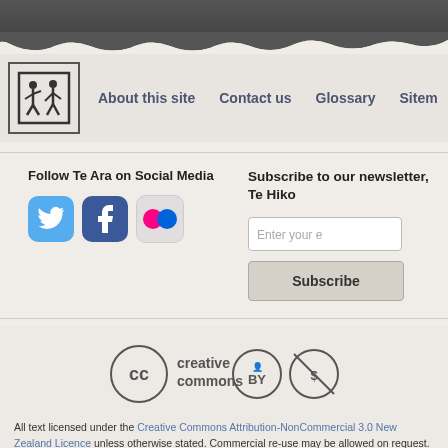[Figure (screenshot): Dark grey header strip at top of page with torn paper edge effect]
About this site   Contact us   Glossary   Sitem...
[Figure (logo): Te Ara logo - stick figures in a square border]
Follow Te Ara on Social Media
[Figure (infographic): Twitter, Facebook, and Flickr social media icon buttons]
Subscribe to our newsletter, Te Hiko
[Figure (infographic): Creative Commons Attribution-NonCommercial license icons]
All text licensed under the Creative Commons Attribution-NonCommercial 3.0 New Zealand Licence unless otherwise stated. Commercial re-use may be allowed on request. All non-text content is